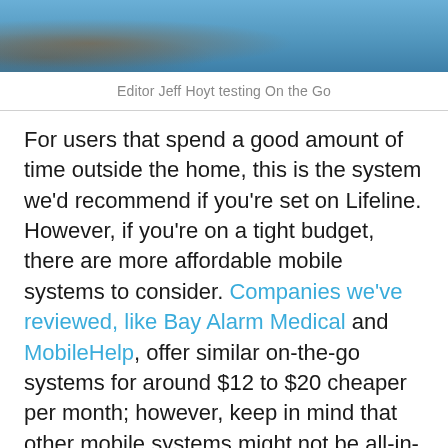[Figure (photo): Photo of a person wearing blue clothing, partially cropped at the top of the page, with what appears to be a dog or animal nearby]
Editor Jeff Hoyt testing On the Go
For users that spend a good amount of time outside the home, this is the system we'd recommend if you're set on Lifeline. However, if you're on a tight budget, there are more affordable mobile systems to consider. Companies we've reviewed, like Bay Alarm Medical and MobileHelp, offer similar on-the-go systems for around $12 to $20 cheaper per month; however, keep in mind that other mobile systems might not be all-in-one systems, as lightweight, or equipped with fall detection like Lifeline's On